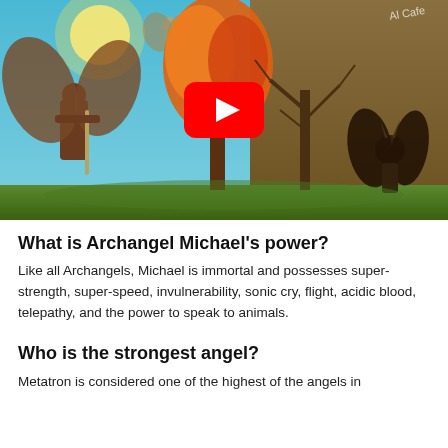[Figure (illustration): Fantasy illustration showing Archangel Michael in armor with wings holding a sword on the left, a tree split between fiery autumn and bare winter in the center, and a dark winged demon figure on the right. A YouTube play button overlay is in the center of the image.]
What is Archangel Michael's power?
Like all Archangels, Michael is immortal and possesses super-strength, super-speed, invulnerability, sonic cry, flight, acidic blood, telepathy, and the power to speak to animals.
Who is the strongest angel?
Metatron is considered one of the highest of the angels in